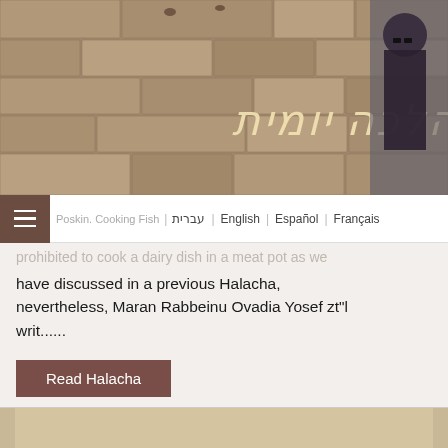[Figure (photo): Website header banner with stone wall (Western Wall) background and Hebrew text 'הלכה יומית' (Halacha Yomit) in stylized italic font, with a rabbi figure visible on the right side]
Poskin. Cooking Fish  עברית | English | Español | Français
prohibited to cook a dairy dish in a meat pot as we have discussed in a previous Halacha, nevertheless, Maran Rabbeinu Ovadia Yosef zt"l writ......
Read Halacha
[Figure (photo): Stone relief carving showing the Arch of Titus menorah relief - Roman soldiers carrying the Temple menorah and other Temple vessels]